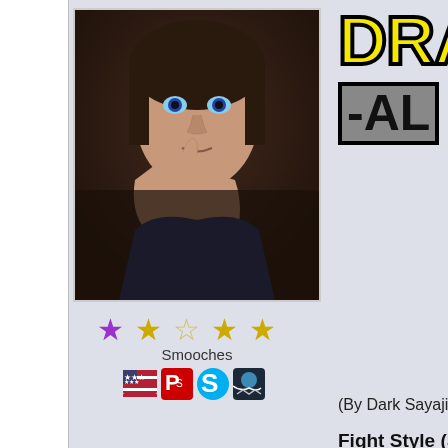[Figure (photo): Profile photo of a person with dark hair and blue eyes against a dark background]
[Figure (illustration): Five decorative stars in purple and gold rating icons]
Smooches
[Figure (illustration): Row of platform/social icons: US flag, PlayStation, Skype, Steam]
[Figure (logo): DRAG- title text in large yellow letters with black outline, and subtitle below in dark block letters on grey background]
(By Dark Sayajin,
Fight Style (Spec
Ramon(2k2),Joe(2k2),
Fight Style (Supe